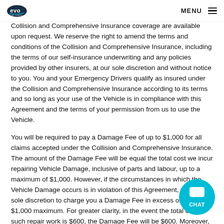evo | MENU
Collision and Comprehensive Insurance coverage are available upon request. We reserve the right to amend the terms and conditions of the Collision and Comprehensive Insurance, including the terms of our self-insurance underwriting and any policies provided by other insurers, at our sole discretion and without notice to you. You and your Emergency Drivers qualify as insured under the Collision and Comprehensive Insurance according to its terms and so long as your use of the Vehicle is in compliance with this Agreement and the terms of your permission from us to use the Vehicle.
You will be required to pay a Damage Fee of up to $1,000 for all claims accepted under the Collision and Comprehensive Insurance. The amount of the Damage Fee will be equal the total cost we incur repairing Vehicle Damage, inclusive of parts and labour, up to a maximum of $1,000. However, if the circumstances in which the Vehicle Damage occurs is in violation of this Agreement, we have sole discretion to charge you a Damage Fee in excess of the $1,000 maximum. For greater clarity, in the event the total cost of such repair work is $600, the Damage Fee will be $600. Moreover, in the event that Vehicle Damage is caused in circumstances that violate this Agreement and the total cost of repair work exceeds $1,000, we are entitled to charge you a Damage Fee that exceeds the $1,000 maximum. No coverage is available for loss or damage to